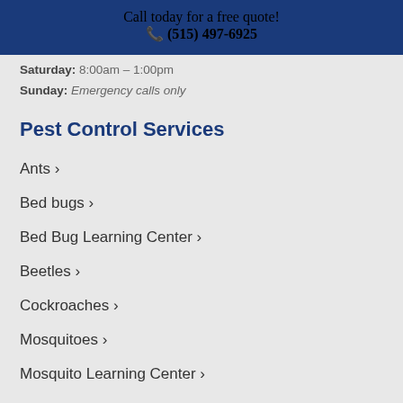Call today for a free quote! ☎ (515) 497-6925
Saturday: 8:00am – 1:00pm
Sunday: Emergency calls only
Pest Control Services
Ants ›
Bed bugs ›
Bed Bug Learning Center ›
Beetles ›
Cockroaches ›
Mosquitoes ›
Mosquito Learning Center ›